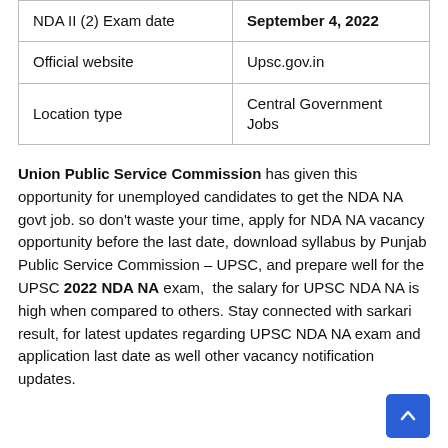| NDA II (2) Exam date | September 4, 2022 |
| Official website | Upsc.gov.in |
| Location type | Central Government Jobs |
Union Public Service Commission has given this opportunity for unemployed candidates to get the NDA NA govt job. so don't waste your time, apply for NDA NA vacancy opportunity before the last date, download syllabus by Punjab Public Service Commission – UPSC, and prepare well for the UPSC 2022 NDA NA exam,  the salary for UPSC NDA NA is high when compared to others. Stay connected with sarkari result, for latest updates regarding UPSC NDA NA exam and application last date as well other vacancy notification updates.